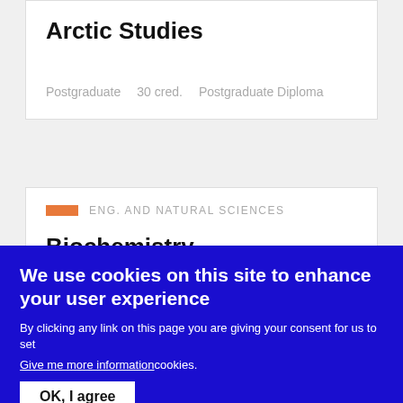Arctic Studies
Postgraduate   30 cred.   Postgraduate Diploma
ENG. AND NATURAL SCIENCES
Biochemistry
We use cookies on this site to enhance your user experience
By clicking any link on this page you are giving your consent for us to set
Give me more information
cookies.
OK, I agree